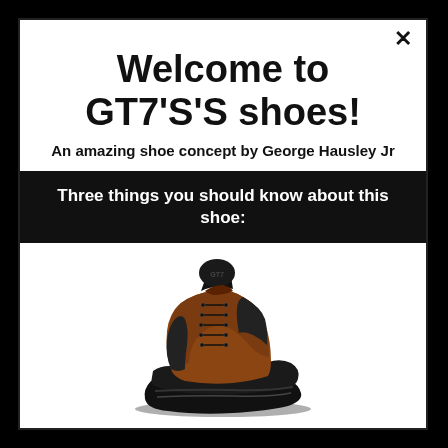Welcome to GT7'S'S shoes!
An amazing shoe concept by George Hausley Jr
Three things you should know about this shoe:
[Figure (photo): A high-top sneaker/boot with brown leather upper and black rubber sole and black leather collar, laced with black laces, shown on white background]
George Hausley Jr is the designer of